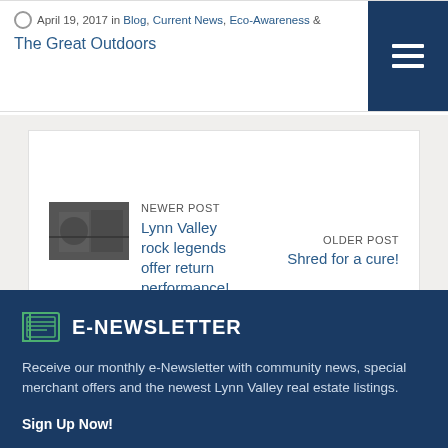April 19, 2017 in Blog, Current News, Eco-Awareness & The Great Outdoors
NEWER POST
Lynn Valley rock legends offer return performance!
OLDER POST
Shred for a cure!
E-NEWSLETTER
Receive our monthly e-Newsletter with community news, special merchant offers and the newest Lynn Valley real estate listings.
Sign Up Now!